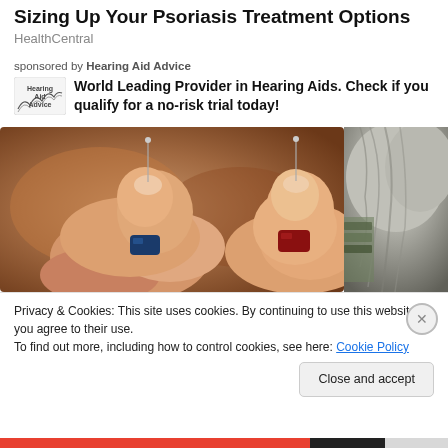Sizing Up Your Psoriasis Treatment Options
HealthCentral
sponsored by Hearing Aid Advice
World Leading Provider in Hearing Aids. Check if you qualify for a no-risk trial today!
[Figure (photo): Two hands holding small hearing aid devices with thin pins, close-up photo with blurred brown background. Partially visible second image on the right showing a person's ear/head with grey hair near a bookshelf.]
Privacy & Cookies: This site uses cookies. By continuing to use this website, you agree to their use.
To find out more, including how to control cookies, see here: Cookie Policy
Close and accept